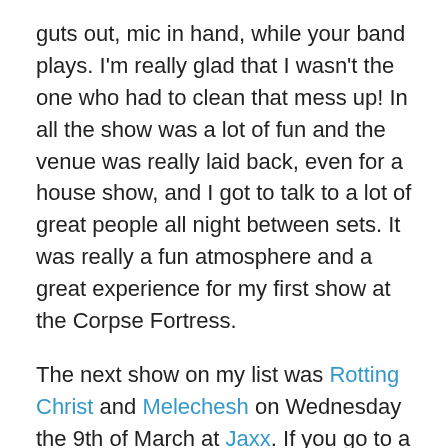guts out, mic in hand, while your band plays. I'm really glad that I wasn't the one who had to clean that mess up! In all the show was a lot of fun and the venue was really laid back, even for a house show, and I got to talk to a lot of great people all night between sets. It was really a fun atmosphere and a great experience for my first show at the Corpse Fortress.
The next show on my list was Rotting Christ and Melechesh on Wednesday the 9th of March at Jaxx. If you go to a lot of metal shows in the DC area you're going to find yourself at Jaxx sooner or later and fittingly this was the only venue I'd be at twice during my Metal Marathon. Some people complain about various aspects of the venue but at the end of the day, they are the only place in this area that will play any number of international metal bands and if it wasn't for them I'd surely have seen a lot less of